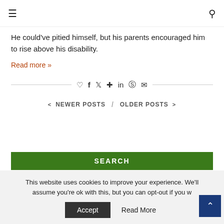≡  🔍
He could've pitied himself, but his parents encouraged him to rise above his disability.
Read more »
[Figure (other): Social share icons row: heart, facebook, twitter, pinterest, linkedin, whatsapp, email]
< NEWER POSTS  /  OLDER POSTS >
SEARCH
This website uses cookies to improve your experience. We'll assume you're ok with this, but you can opt-out if you w...
Accept   Read More